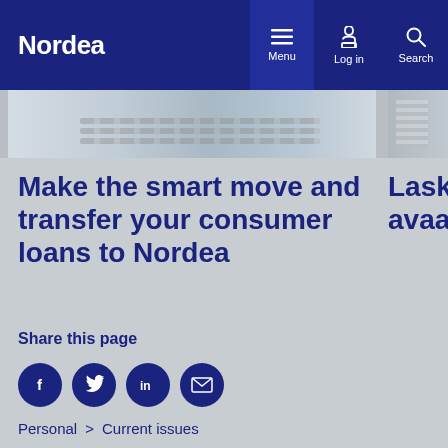Nordea | Menu | Log in | Search
[Figure (photo): Partial view of a desk scene with keyboard and objects, cropped website screenshot style]
Make the smart move and transfer your consumer loans to Nordea
Laske avaa
Share this page
[Figure (infographic): Social share buttons: Facebook, Twitter, LinkedIn, Email]
Personal > Current issues